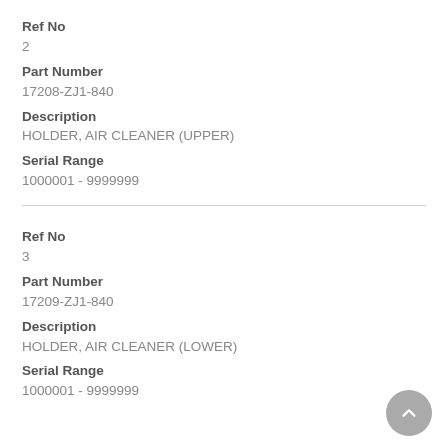Ref No
2
Part Number
17208-ZJ1-840
Description
HOLDER, AIR CLEANER (UPPER)
Serial Range
1000001 - 9999999
Ref No
3
Part Number
17209-ZJ1-840
Description
HOLDER, AIR CLEANER (LOWER)
Serial Range
1000001 - 9999999